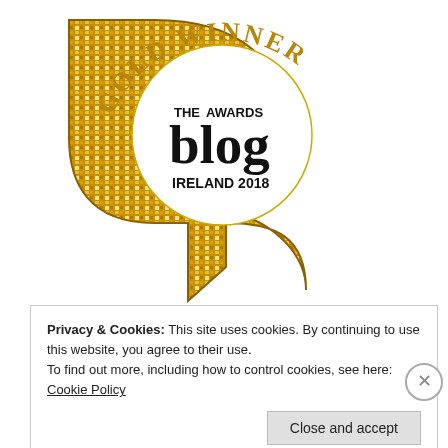[Figure (logo): The Blog Awards Ireland 2018 Gold Winner badge — a large golden sparkly letter 'b' (speech bubble shape) with a white circle inset showing 'THE AWARDS blog IRELAND 2018' text in black, and 'GOLD WINNER' curved along the top in gold serif text on an arc.]
Privacy & Cookies: This site uses cookies. By continuing to use this website, you agree to their use.
To find out more, including how to control cookies, see here: Cookie Policy
Close and accept